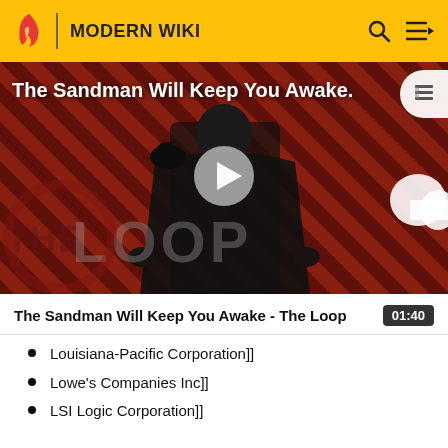MODERN WIKI
[Figure (screenshot): Video thumbnail for 'The Sandman Will Keep You Awake - The Loop' showing a dark figure in black with diagonal stripe background and THE LOOP watermark. Play button overlay visible.]
The Sandman Will Keep You Awake - The Loop
01:40
Louisiana-Pacific Corporation]]
Lowe's Companies Inc]]
LSI Logic Corporation]]